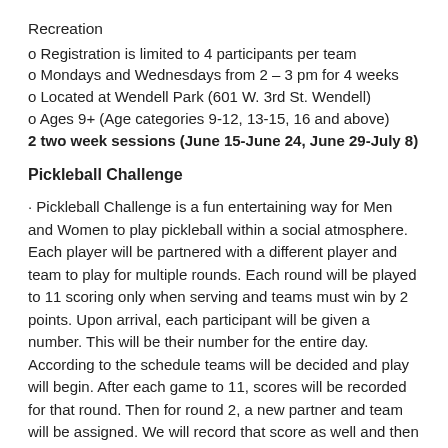Recreation
o Registration is limited to 4 participants per team
o Mondays and Wednesdays from 2 – 3 pm for 4 weeks
o Located at Wendell Park (601 W. 3rd St. Wendell)
o Ages 9+ (Age categories 9-12, 13-15, 16 and above)
2 two week sessions (June 15-June 24, June 29-July 8)
Pickleball Challenge
· Pickleball Challenge is a fun entertaining way for Men and Women to play pickleball within a social atmosphere. Each player will be partnered with a different player and team to play for multiple rounds. Each round will be played to 11 scoring only when serving and teams must win by 2 points. Upon arrival, each participant will be given a number. This will be their number for the entire day. According to the schedule teams will be decided and play will begin. After each game to 11, scores will be recorded for that round. Then for round 2, a new partner and team will be assigned. We will record that score as well and then move on to round 3 and continue the above pattern. Pickleball Challenge will be a fast pace, full of continuous play, and socially entertaining game for all to enjoy. o Program Supervisor – Kelley Connolly
kconnolly@townofwendell.com